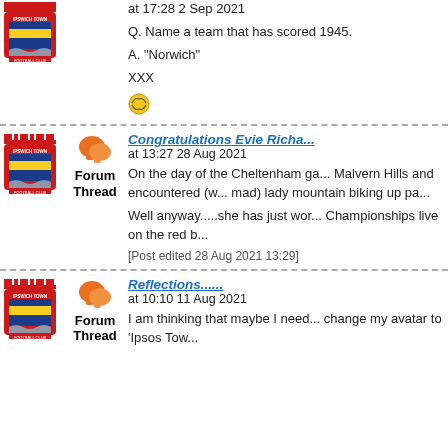at 17:28 2 Sep 2021

Q. Name a team that has scored 1945.

A. "Norwich"

XXX
Congratulations Evie Richa...
at 13:27 28 Aug 2021

On the day of the Cheltenham ga... Malvern Hills and encountered (w... mad) lady mountain biking up pa...

Well anyway.....she has just wor... Championships live on the red b...

[Post edited 28 Aug 2021 13:29]
Reflections......
at 10:10 11 Aug 2021

I am thinking that maybe I need... change my avatar to 'Ipsos Tow...